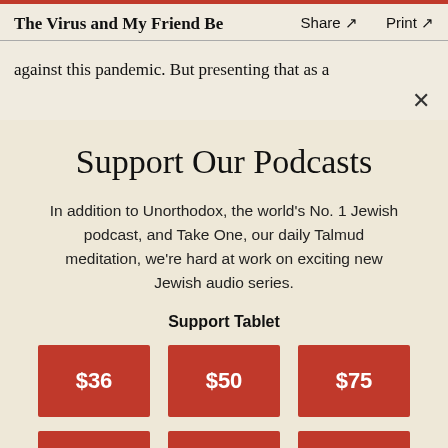The Virus and My Friend Be... Share ↗   Print ↗
against this pandemic. But presenting that as a
Support Our Podcasts
In addition to Unorthodox, the world's No. 1 Jewish podcast, and Take One, our daily Talmud meditation, we're hard at work on exciting new Jewish audio series.
Support Tablet
$36  $50  $75